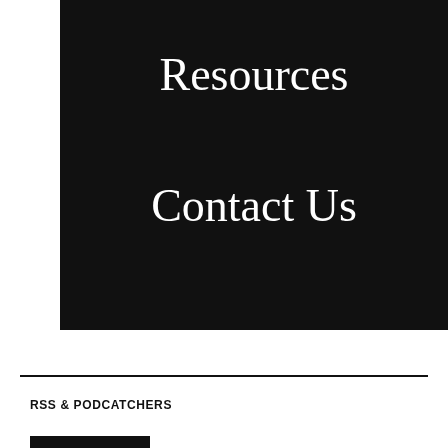Resources
Contact Us
RSS & PODCATCHERS